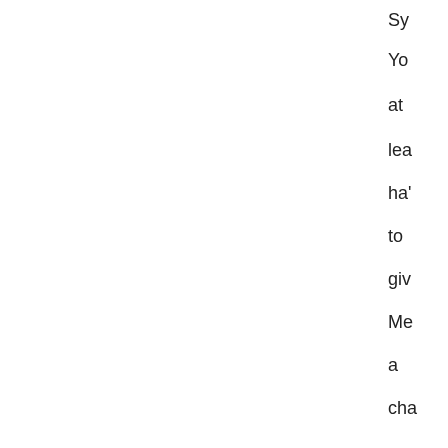Sy You at lea ha' to giv Me a cha It wil be rel firs ph this